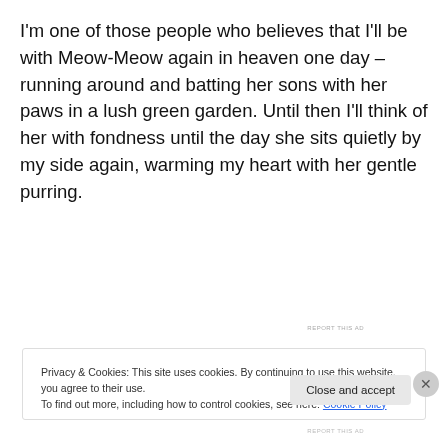I'm one of those people who believes that I'll be with Meow-Meow again in heaven one day – running around and batting her sons with her paws in a lush green garden. Until then I'll think of her with fondness until the day she sits quietly by my side again, warming my heart with her gentle purring.
[Figure (other): WordPress.com advertisement banner with gradient purple-blue background showing 'Simplified pricing for everything you need.' with WordPress.com logo]
Privacy & Cookies: This site uses cookies. By continuing to use this website, you agree to their use. To find out more, including how to control cookies, see here: Cookie Policy
Close and accept